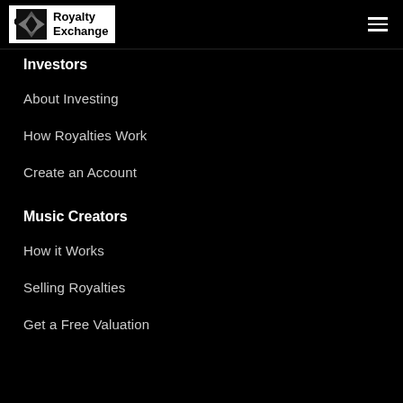Royalty Exchange
Investors
About Investing
How Royalties Work
Create an Account
Music Creators
How it Works
Selling Royalties
Get a Free Valuation